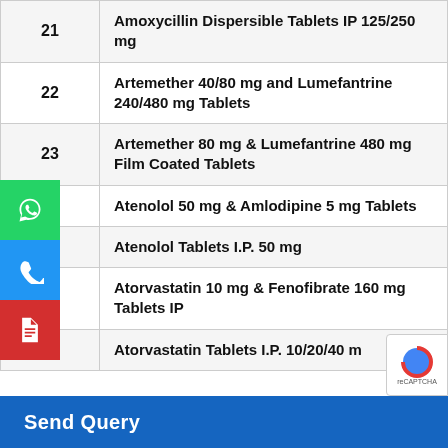| # | Product Name |
| --- | --- |
| 21 | Amoxycillin Dispersible Tablets IP 125/250 mg |
| 22 | Artemether 40/80 mg and Lumefantrine 240/480 mg Tablets |
| 23 | Artemether 80 mg & Lumefantrine 480 mg Film Coated Tablets |
| 24 | Atenolol 50 mg & Amlodipine 5 mg Tablets |
| 25 | Atenolol Tablets I.P. 50 mg |
| 26 | Atorvastatin 10 mg & Fenofibrate 160 mg Tablets IP |
| 27 | Atorvastatin Tablets I.P. 10/20/40 m… |